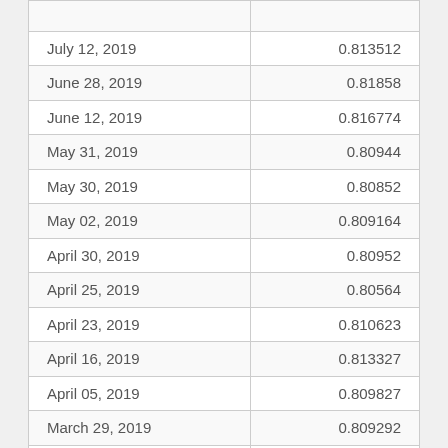| July 12, 2019 | 0.813512 |
| June 28, 2019 | 0.81858 |
| June 12, 2019 | 0.816774 |
| May 31, 2019 | 0.80944 |
| May 30, 2019 | 0.80852 |
| May 02, 2019 | 0.809164 |
| April 30, 2019 | 0.80952 |
| April 25, 2019 | 0.80564 |
| April 23, 2019 | 0.810623 |
| April 16, 2019 | 0.813327 |
| April 05, 2019 | 0.809827 |
| March 29, 2019 | 0.809292 |
| March 15, 2019 | 0.812147 |
| February 28, 2019 | 0.816609 |
| February 04, 2019 | 0.819777 |